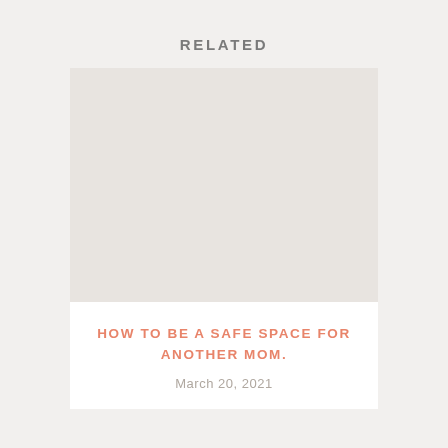RELATED
[Figure (photo): Placeholder image area with light beige/grey background representing a related article thumbnail photo]
HOW TO BE A SAFE SPACE FOR ANOTHER MOM.
March 20, 2021